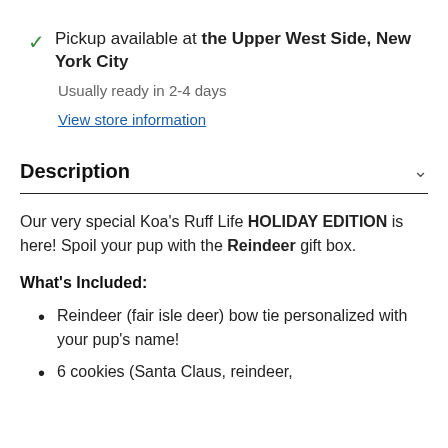Pickup available at the Upper West Side, New York City
Usually ready in 2-4 days
View store information
Description
Our very special Koa's Ruff Life HOLIDAY EDITION is here! Spoil your pup with the Reindeer gift box.
What's Included:
Reindeer (fair isle deer) bow tie personalized with your pup's name!
6 cookies (Santa Claus, reindeer,